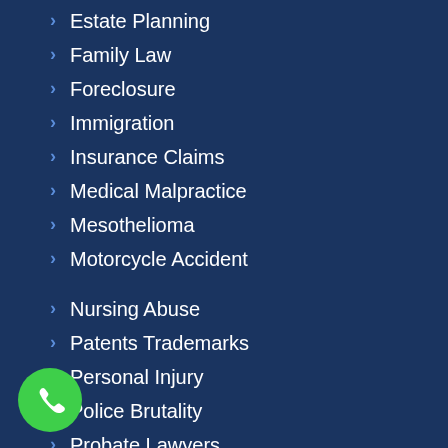Estate Planning
Family Law
Foreclosure
Immigration
Insurance Claims
Medical Malpractice
Mesothelioma
Motorcycle Accident
Nursing Abuse
Patents Trademarks
Personal Injury
Police Brutality
Probate Lawyers
Sexual Harassment
S.S. Disability
Tax
Truck Accident
Workers Compensation
[Figure (illustration): Green circular phone call button in the bottom left corner]